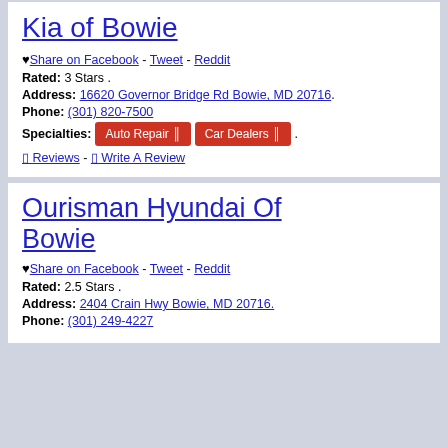Kia of Bowie
♥ Share on Facebook - Tweet - Reddit
Rated: 3 Stars .
Address: 16620 Governor Bridge Rd Bowie, MD 20716.
Phone: (301) 820-7500
Specialties: Auto Repair  Car Dealers .
0 Reviews - 0 Write A Review
Ourisman Hyundai Of Bowie
♥ Share on Facebook - Tweet - Reddit
Rated: 2.5 Stars .
Address: 2404 Crain Hwy Bowie, MD 20716.
Phone: (301) 249-4227